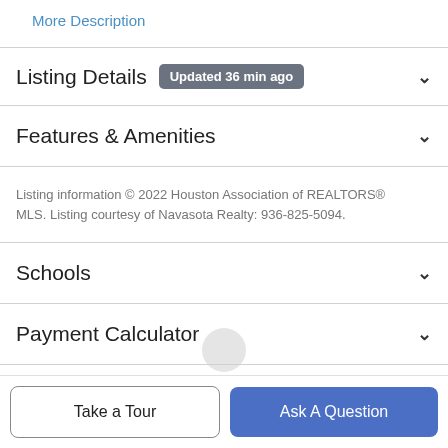More Description
Listing Details  Updated 36 min ago
Features & Amenities
Listing information © 2022 Houston Association of REALTORS® MLS. Listing courtesy of Navasota Realty: 936-825-5094.
Schools
Payment Calculator
Contact Agent
Take a Tour
Ask A Question